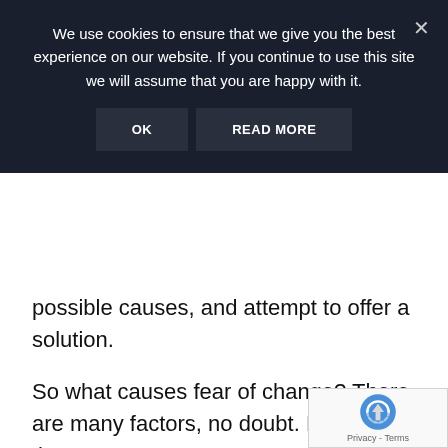We use cookies to ensure that we give you the best experience on our website. If you continue to use this site we will assume that you are happy with it.
OK   READ MORE
possible causes, and attempt to offer a solution.
So what causes fear of change? There are many factors, no doubt. Here are three:
Evolutionary Biology
Fear of change is very natural. Evolutionary biology would seem likely to select for not doing things you haven't done before, and especially not do things that nobody has done before.